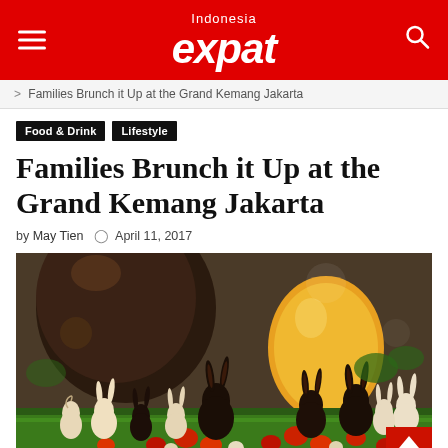Indonesia expat
Families Brunch it Up at the Grand Kemang Jakarta
Food & Drink | Lifestyle
Families Brunch it Up at the Grand Kemang Jakarta
by May Tien  April 11, 2017
[Figure (photo): Easter chocolate display with chocolate bunny figurines, white chocolate bunnies, colorful Easter eggs, and large decorative chocolate eggs in the background on green grass display]